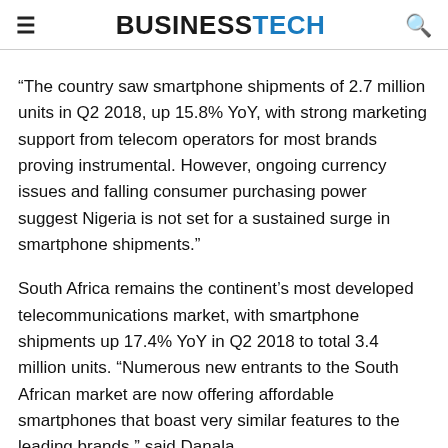BUSINESSTECH
“The country saw smartphone shipments of 2.7 million units in Q2 2018, up 15.8% YoY, with strong marketing support from telecom operators for most brands proving instrumental. However, ongoing currency issues and falling consumer purchasing power suggest Nigeria is not set for a sustained surge in smartphone shipments.”
South Africa remains the continent’s most developed telecommunications market, with smartphone shipments up 17.4% YoY in Q2 2018 to total 3.4 million units. “Numerous new entrants to the South African market are now offering affordable smartphones that boast very similar features to the leading brands,” said Danala